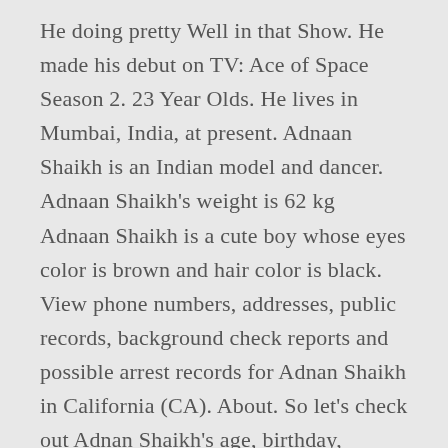He doing pretty Well in that Show. He made his debut on TV: Ace of Space Season 2. 23 Year Olds. He lives in Mumbai, India, at present. Adnaan Shaikh is an Indian model and dancer. Adnaan Shaikh's weight is 62 kg Adnaan Shaikh is a cute boy whose eyes color is brown and hair color is black. View phone numbers, addresses, public records, background check reports and possible arrest records for Adnan Shaikh in California (CA). About. So let's check out Adnan Shaikh's age, birthday, family, friends, career, songs, and many more integrating facts, that are given below. He was born on 7 August 1997 in Maharastra, India and as of now he is 21 Years Old in 2018.